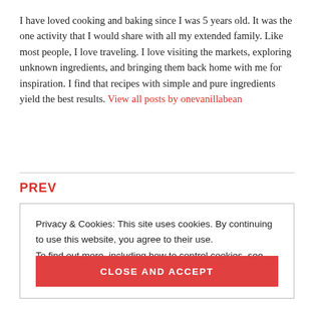I have loved cooking and baking since I was 5 years old. It was the one activity that I would share with all my extended family. Like most people, I love traveling. I love visiting the markets, exploring unknown ingredients, and bringing them back home with me for inspiration. I find that recipes with simple and pure ingredients yield the best results. View all posts by onevanillabean
PREV
Privacy & Cookies: This site uses cookies. By continuing to use this website, you agree to their use. To find out more, including how to control cookies, see here: Cookie Policy
CLOSE AND ACCEPT